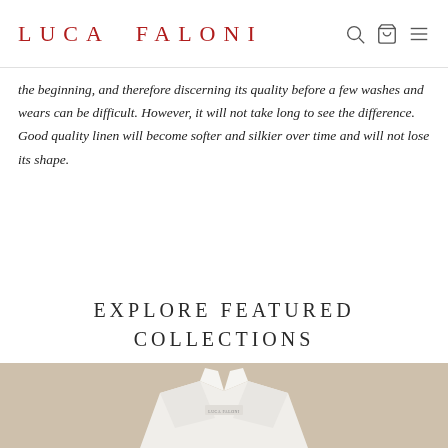LUCA FALONI
the beginning, and therefore discerning its quality before a few washes and wears can be difficult. However, it will not take long to see the difference. Good quality linen will become softer and silkier over time and will not lose its shape.
EXPLORE FEATURED COLLECTIONS
[Figure (photo): A white Luca Faloni branded shirt/jacket displayed on a beige/cream background, photographed from above showing collar and lapels.]